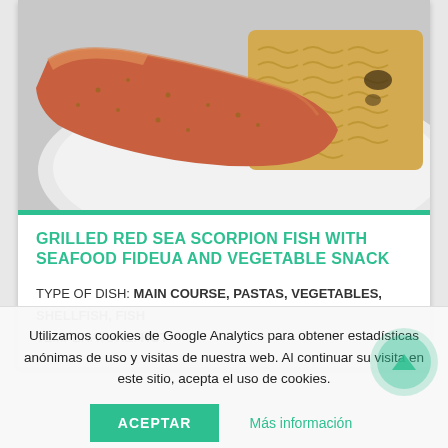[Figure (photo): Photo of grilled red sea scorpion fish fillet with seafood fideua pasta on a white plate]
GRILLED RED SEA SCORPION FISH WITH SEAFOOD FIDEUA AND VEGETABLE SNACK
TYPE OF DISH: MAIN COURSE, PASTAS, VEGETABLES, SHELLFISH, FISH
TEMPERATURE: HOT
Utilizamos cookies de Google Analytics para obtener estadísticas anónimas de uso y visitas de nuestra web. Al continuar su visita en este sitio, acepta el uso de cookies.
ACEPTAR    Más información